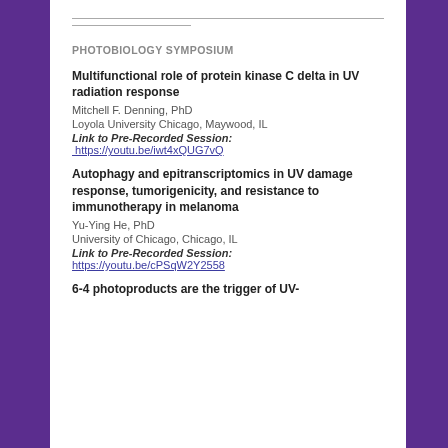PHOTOBIOLOGY SYMPOSIUM
Multifunctional role of protein kinase C delta in UV radiation response
Mitchell F. Denning, PhD
Loyola University Chicago, Maywood, IL
Link to Pre-Recorded Session: https://youtu.be/iwt4xQUG7vQ
Autophagy and epitranscriptomics in UV damage response, tumorigenicity, and resistance to immunotherapy in melanoma
Yu-Ying He, PhD
University of Chicago, Chicago, IL
Link to Pre-Recorded Session: https://youtu.be/cPSqW2Y2558
6-4 photoproducts are the trigger of UV-